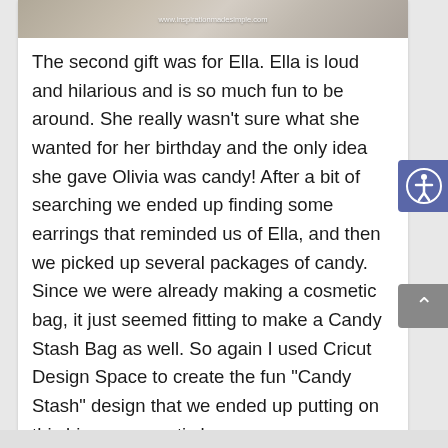[Figure (photo): Top portion of an image with a wood/stone textured background and watermark URL www.inspirationmadesimple.com centered in white text]
The second gift was for Ella. Ella is loud and hilarious and is so much fun to be around. She really wasn't sure what she wanted for her birthday and the only idea she gave Olivia was candy! After a bit of searching we ended up finding some earrings that reminded us of Ella, and then we picked up several packages of candy. Since we were already making a cosmetic bag, it just seemed fitting to make a Candy Stash Bag as well. So again I used Cricut Design Space to create the fun “Candy Stash” design that we ended up putting on this bigger cosmetic bag.